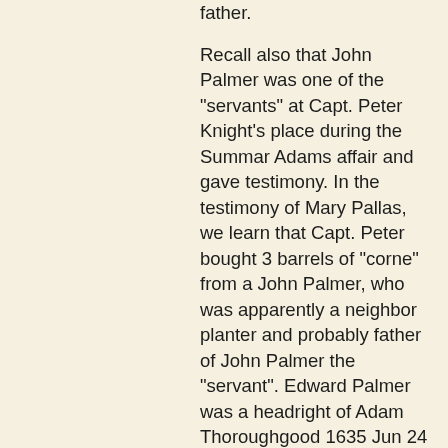father.

Recall also that John Palmer was one of the "servants" at Capt. Peter Knight's place during the Summar Adams affair and gave testimony. In the testimony of Mary Pallas, we learn that Capt. Peter bought 3 barrels of "corne" from a John Palmer, who was apparently a neighbor planter and probably father of John Palmer the "servant". Edward Palmer was a headright of Adam Thoroughgood 1635 Jun 24 and patented his own land 1658 Jun 4 in Northumberland County. We also note that in 1653, William Claiborne claimed "both Kent and Palmer Islands" so Palmers may have been there prior to Northumberland VA. Again, it was Edward Palmer who used "Guy Knight" as a headright in 1658. One wonders if "Guy" is not a transcription error and is really "George" using the abbreviation of